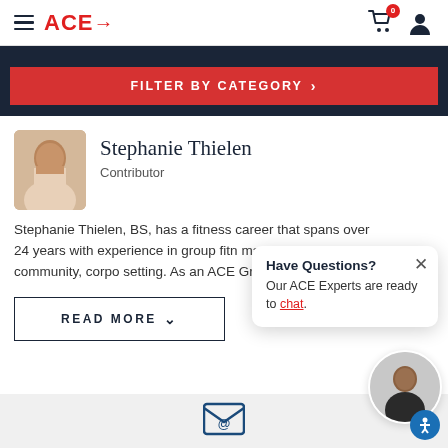ACE→
FILTER BY CATEGORY >
Stephanie Thielen
Contributor
Stephanie Thielen, BS, has a fitness career that spans over 24 years with experience in group fitn management in the community, corpo setting. As an ACE Group Fitness Instr
READ MORE ∨
Have Questions? Our ACE Experts are ready to chat.